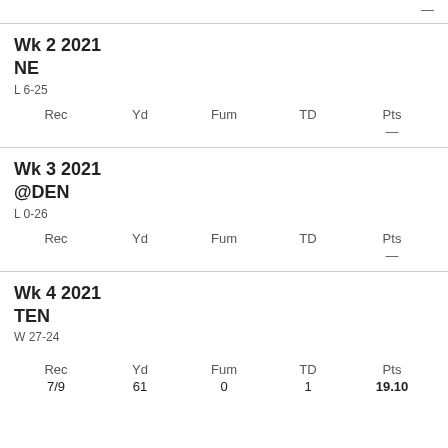—
|  | Rec | Yd | Fum | TD | Pts |
| --- | --- | --- | --- | --- | --- |
| Wk 2 2021 NE L 6-25 |  |  |  |  | — |
|  | Rec | Yd | Fum | TD | Pts |
| --- | --- | --- | --- | --- | --- |
| Wk 3 2021 @DEN L 0-26 |  |  |  |  | — |
|  | Rec | Yd | Fum | TD | Pts |
| --- | --- | --- | --- | --- | --- |
| Wk 4 2021 TEN W 27-24 | 7/9 | 61 | 0 | 1 | 19.10 |